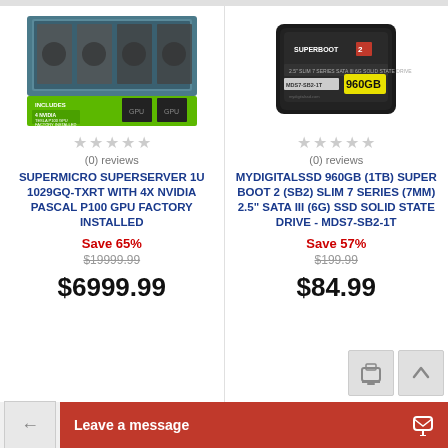[Figure (photo): Supermicro SuperServer 1U 1029GQ-TXRT with 4x NVIDIA Tesla P100 GPUs installed, shown in rack chassis with green label highlighting 4 GPU installation]
(0) reviews
SUPERMICRO SUPERSERVER 1U 1029GQ-TXRT WITH 4X NVIDIA PASCAL P100 GPU FACTORY INSTALLED
Save 65%
$19999.99
$6999.99
[Figure (photo): MyDigitalSSD 960GB Super Boot 2 SSD drive in black enclosure labeled 960GB, MDS7-SB2-1T]
(0) reviews
MYDIGITALSSD 960GB (1TB) SUPER BOOT 2 (SB2) SLIM 7 SERIES (7MM) 2.5" SATA III (6G) SSD SOLID STATE DRIVE - MDS7-SB2-1T
Save 57%
$199.99
$84.99
Leave a message